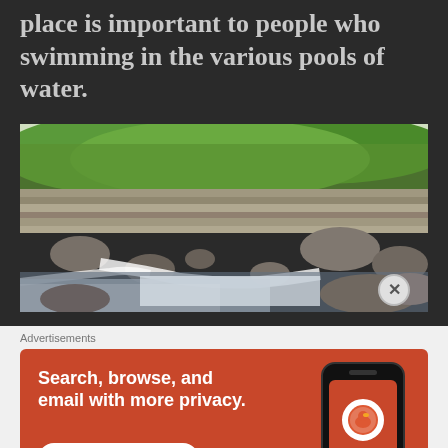place is important to people who swimming in the various pools of water.
[Figure (photo): Rocky river scene with cascading water over layered flat rocks and boulders, surrounded by green trees and hills in the background.]
Advertisements
[Figure (screenshot): DuckDuckGo advertisement banner showing orange background with text 'Search, browse, and email with more privacy. All in One Free App' and a phone mockup displaying the DuckDuckGo logo.]